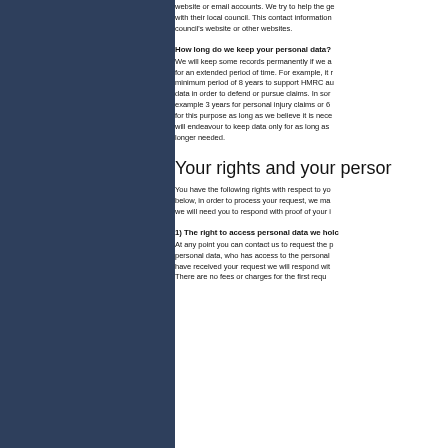website or email accounts. We try to help the general public with their local council. This contact information is from the council's website or other websites.
How long do we keep your personal data?
We will keep some records permanently if we are legally required to do so for an extended period of time. For example, it is required to retain financial data for a minimum period of 8 years to support HMRC audits. We may hold some personal data in order to defend or pursue claims. In some cases this will be for an example 3 years for personal injury claims or 6 years for contract claims. We hold for this purpose as long as we believe it is necessary. We will endeavour to keep data only for as long as it is necessary and delete it when it is no longer needed.
Your rights and your personal data
You have the following rights with respect to your personal data. If you wish to exercise any of the rights set out below, in order to process your request, we may need to verify your identity. To do this, we will need you to respond with proof of your identity.
1) The right to access personal data we hold on you
At any point you can contact us to request the personal data we hold on you as well as why we have that personal data, who has access to the personal data and where we obtained the personal data from. Once we have received your request we will respond within one month. There are no fees or charges for the first requ